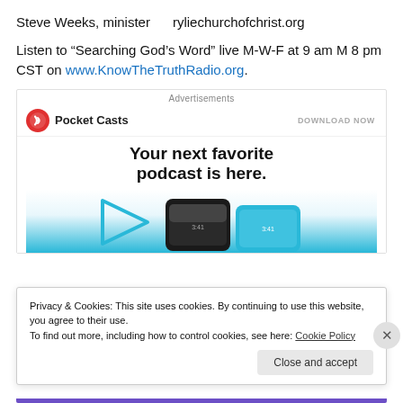Steve Weeks, minister    ryliechurchofchrist.org
Listen to “Searching God’s Word” live M-W-F at 9 am M 8 pm CST on www.KnowTheTruthRadio.org.
[Figure (other): Pocket Casts advertisement banner with logo, 'DOWNLOAD NOW' text, and headline 'Your next favorite podcast is here.' with phone/device imagery below.]
Privacy & Cookies: This site uses cookies. By continuing to use this website, you agree to their use.
To find out more, including how to control cookies, see here: Cookie Policy
Close and accept